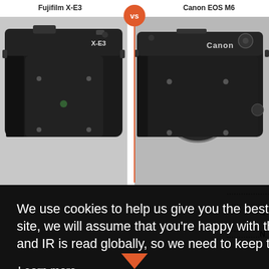Fujifilm X-E3
Canon EOS M6
[Figure (photo): Fujifilm X-E3 camera body (black), mirrorless, no lens attached, X-E3 branding visible on top right]
[Figure (photo): Canon EOS M6 camera body (black), mirrorless, no lens attached, Canon branding visible on top right]
We use cookies to help us give you the best experience on IR. If you continue to use this site, we will assume that you're happy with this. This notice is required by recent EU rules, and IR is read globally, so we need to keep the bureaucrats off our case!
Learn more
Got it!